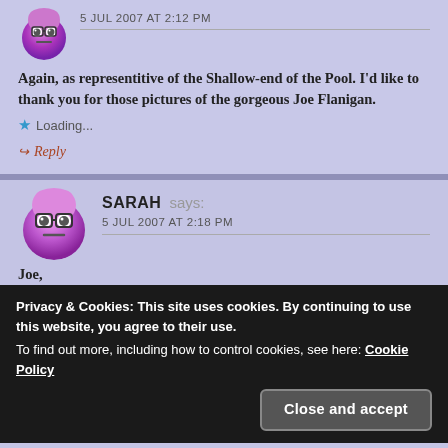5 JUL 2007 AT 2:12 PM
Again, as representitive of the Shallow-end of the Pool. I'd like to thank you for those pictures of the gorgeous Joe Flanigan.
Loading...
Reply
SARAH says: 5 JUL 2007 AT 2:18 PM
Joe,
Privacy & Cookies: This site uses cookies. By continuing to use this website, you agree to their use. To find out more, including how to control cookies, see here: Cookie Policy
Close and accept
Random question: ever had a chocodile?